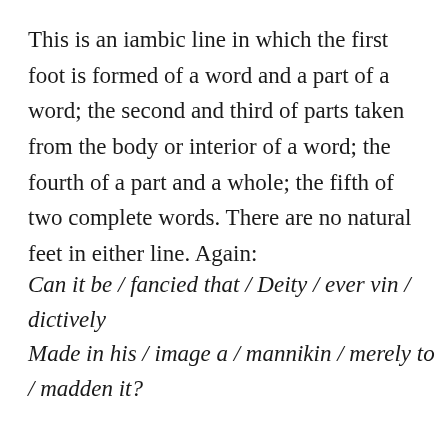This is an iambic line in which the first foot is formed of a word and a part of a word; the second and third of parts taken from the body or interior of a word; the fourth of a part and a whole; the fifth of two complete words. There are no natural feet in either line. Again:
Can it be / fancied that / Deity / ever vin / dictively
Made in his / image a / mannikin / merely to / madden it?